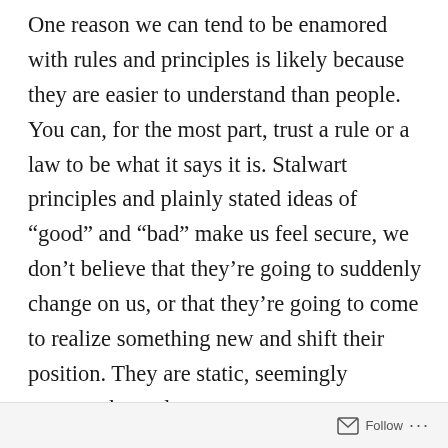One reason we can tend to be enamored with rules and principles is likely because they are easier to understand than people. You can, for the most part, trust a rule or a law to be what it says it is. Stalwart principles and plainly stated ideas of “good” and “bad” make us feel secure, we don’t believe that they’re going to suddenly change on us, or that they’re going to come to realize something new and shift their position. They are static, seemingly trustworthy and, as a consequence, altogether inhuman.

Humans are different than laws and precepts.
Follow